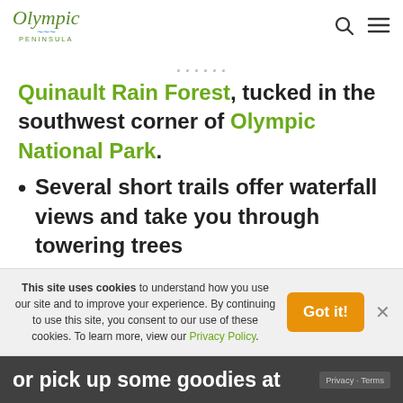Olympic Peninsula
Quinault Rain Forest, tucked in the southwest corner of Olympic National Park.
Several short trails offer waterfall views and take you through towering trees
This site uses cookies to understand how you use our site and to improve your experience. By continuing to use this site, you consent to our use of these cookies. To learn more, view our Privacy Policy.
or pick up some goodies at